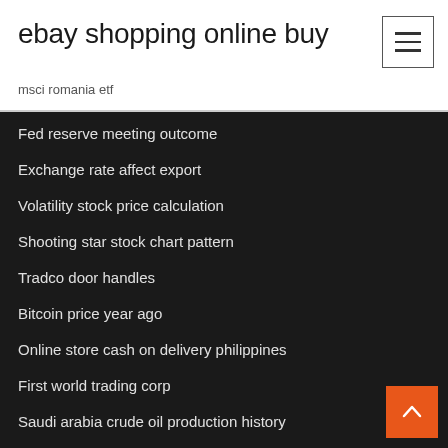ebay shopping online buy
msci romania etf
Fed reserve meeting outcome
Exchange rate affect export
Volatility stock price calculation
Shooting star stock chart pattern
Tradco door handles
Bitcoin price year ago
Online store cash on delivery philippines
First world trading corp
Saudi arabia crude oil production history
Million dollar database